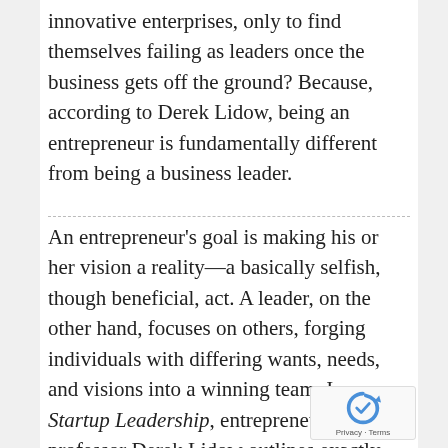innovative enterprises, only to find themselves failing as leaders once the business gets off the ground? Because, according to Derek Lidow, being an entrepreneur is fundamentally different from being a business leader.
An entrepreneur's goal is making his or her vision a reality—a basically selfish, though beneficial, act. A leader, on the other hand, focuses on others, forging individuals with differing wants, needs, and visions into a winning team. In Startup Leadership, entrepreneur and professor Derek Lidow outlines exactly how one can balance these two opposing natures and provides you with the skills and tools to become an Entrepreneurial Leader.